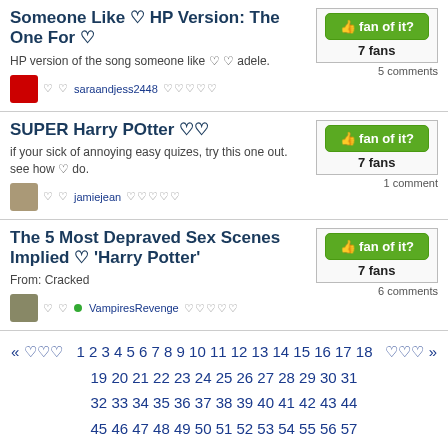Someone Like ♡ HP Version: The One For ♡
HP version of the song someone like ♡♡ adele.
saraandjess2448 ★★★★★
fan of it? 7 fans 5 comments
SUPER Harry POtter ♡♡
if your sick of annoying easy quizes, try this one out. see how ♡ do.
jamiejean ★★★★★
fan of it? 7 fans 1 comment
The 5 Most Depraved Sex Scenes Implied ♡ 'Harry Potter'
From: Cracked
● VampiresRevenge ★★★★★
fan of it? 7 fans 6 comments
« ♡♡♡  1 2 3 4 5 6 7 8 9 10 11 12 13 14 15 16 17 18 19 20 21 22 23 24 25 26 27 28 29 30 31 32 33 34 35 36 37 38 39 40 41 42 43 44 45 46 47 48 49 50 51 52 53 54 55 56 57 58 59 60 61 62 63 64 65 66 67 68 69 70 71 72 73 74 75 76 77 78 79 80 81 82 83 84 85 86 87 88 89 90 91 92 93 94 95 96 97  ♡♡♡ »